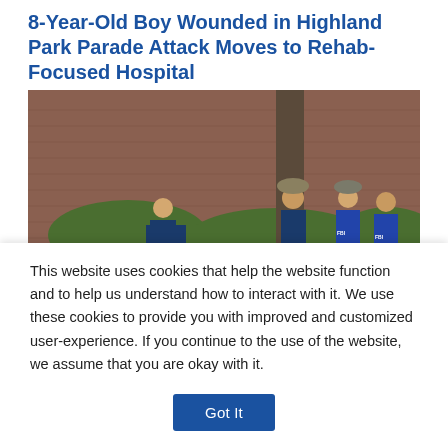8-Year-Old Boy Wounded in Highland Park Parade Attack Moves to Rehab-Focused Hospital
[Figure (photo): Crime scene photo showing law enforcement personnel in FBI vests standing behind yellow police crime scene tape near a barricade. A vehicle marked 'Glencoe Public Safety' is visible on the left. Brick building in background.]
This website uses cookies that help the website function and to help us understand how to interact with it. We use these cookies to provide you with improved and customized user-experience. If you continue to the use of the website, we assume that you are okay with it.
Got It